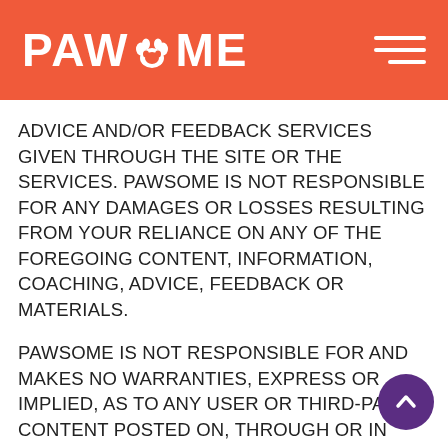PAWSOME
ADVICE AND/OR FEEDBACK SERVICES GIVEN THROUGH THE SITE OR THE SERVICES. PAWSOME IS NOT RESPONSIBLE FOR ANY DAMAGES OR LOSSES RESULTING FROM YOUR RELIANCE ON ANY OF THE FOREGOING CONTENT, INFORMATION, COACHING, ADVICE, FEEDBACK OR MATERIALS.
PAWSOME IS NOT RESPONSIBLE FOR AND MAKES NO WARRANTIES, EXPRESS OR IMPLIED, AS TO ANY USER OR THIRD-PARTY CONTENT POSTED ON, THROUGH OR IN CONNECTION WITH THE SITE OR THE SERVICES, INCLUDING, WITHOUT LIMITATION, ANY CONTENT THAT IS UNAUTHORIZED OR VIOLATES THE TOU OR THE ADDITIONAL TERMS, AND SUCH CONTENT DOES NOT NECESSARILY REFLECT THE